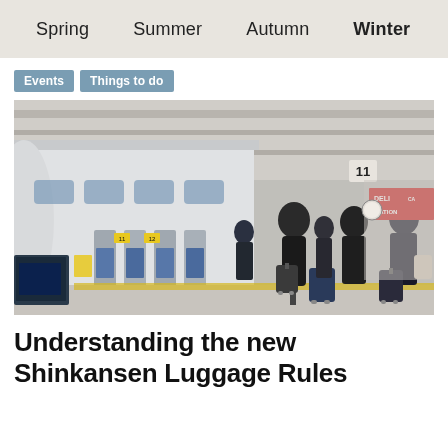Spring  Summer  Autumn  Winter
Events
Things to do
[Figure (photo): Passengers with rolling luggage walking along a bullet train (Shinkansen) platform at a Japanese train station. The sleek white Shinkansen train is visible on the left, with platform gate doors. Signs show platform numbers 11 and 12. In the background a DELI CA STATION shop sign is visible in red.]
Understanding the new Shinkansen Luggage Rules